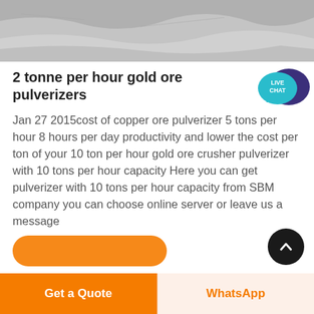[Figure (photo): Grey rocky/sandy surface photograph used as page header image]
[Figure (illustration): Live Chat speech bubble widget icon in teal and dark purple]
2 tonne per hour gold ore pulverizers
Jan 27 2015cost of copper ore pulverizer 5 tons per hour 8 hours per day productivity and lower the cost per ton of your 10 ton per hour gold ore crusher pulverizer with 10 tons per hour capacity Here you can get pulverizer with 10 tons per hour capacity from SBM company you can choose online server or leave us a message
[Figure (illustration): Orange rounded rectangle button (Get a Quote) partially visible at bottom]
[Figure (illustration): Black circular scroll-to-top button with upward chevron]
[Figure (illustration): Bottom navigation bar with orange Get a Quote button and WhatsApp button]